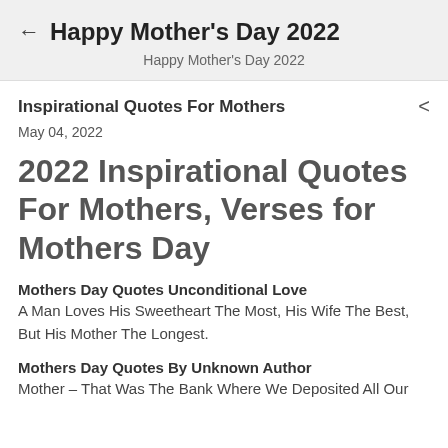← Happy Mother's Day 2022
Happy Mother's Day 2022
Inspirational Quotes For Mothers
May 04, 2022
2022 Inspirational Quotes For Mothers, Verses for Mothers Day
Mothers Day Quotes Unconditional Love
A Man Loves His Sweetheart The Most, His Wife The Best, But His Mother The Longest.
Mothers Day Quotes By Unknown Author
Mother – That Was The Bank Where We Deposited All Our